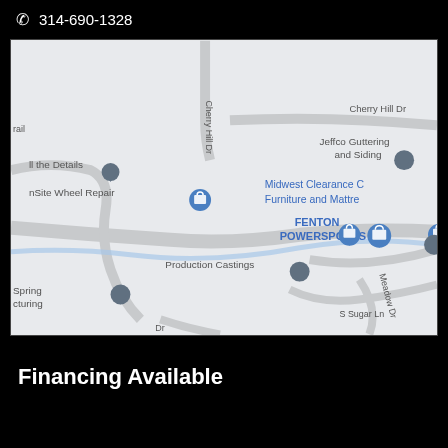314-690-1328
[Figure (map): Google Maps screenshot showing area around Fenton Powersports, with nearby businesses including Jeffco Guttering and Siding, Midwest Clearance Furniture and Mattress, OnSite Wheel Repair, All the Details, Production Castings, Spring Manufacturing. Roads visible include Cherry Hill Dr, Meadow Dr, S Sugar Ln.]
Financing Available